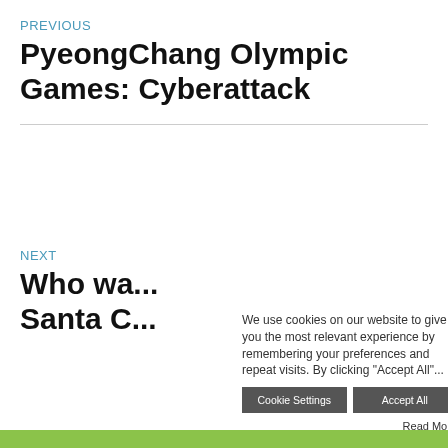PREVIOUS
PyeongChang Olympic Games: Cyberattack
NEXT
Who wa... Santa C...
We use cookies on our website to give you the most relevant experience by remembering your preferences and repeat visits. By clicking "Accept All"...
By continuing to use this site, you agree to the use of cookies to improve your browsing experience and to compile visitor statistics. You can learn more and set up cookies by clicking here.
Cookie Settings
Accept All
Read More
Legal
[Figure (logo): Facebook, Twitter, LinkedIn social media icons]